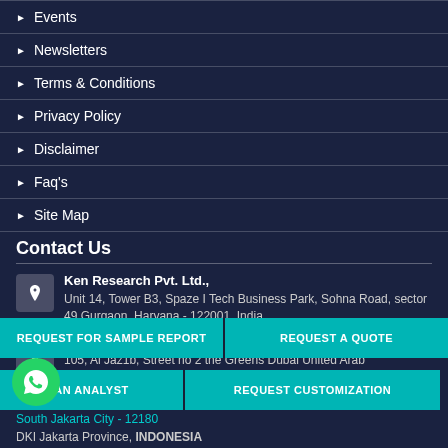Events
Newsletters
Terms & Conditions
Privacy Policy
Disclaimer
Faq's
Site Map
Contact Us
Ken Research Pvt. Ltd., Unit 14, Tower B3, Spaze I Tech Business Park, Sohna Road, sector 49 Gurgaon, Haryana - 122001, India
Ken Research Pvt. Ltd., 105, Al Jaz1b, Street no 2 the Greens Dubai United Arab
REQUEST FOR SAMPLE REPORT
REQUEST A QUOTE
Ken Research Pvt. Ltd.
AN ANALYST
REQUEST CUSTOMIZATION
South Jakarta City - 12180
DKI Jakarta Province, INDONESIA